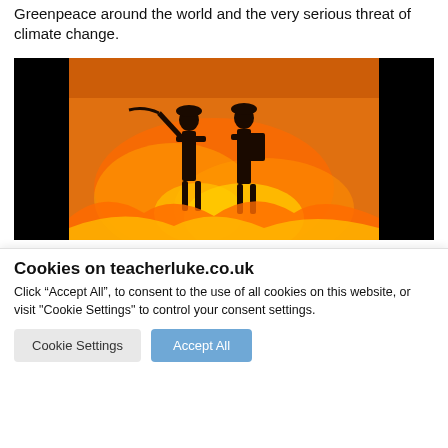Greenpeace around the world and the very serious threat of climate change.
[Figure (photo): Two firefighter silhouettes against a large orange wildfire, one holding a hose, surrounded by flames and smoke.]
Cookies on teacherluke.co.uk
Click “Accept All”, to consent to the use of all cookies on this website, or visit "Cookie Settings" to control your consent settings.
Cookie Settings    Accept All